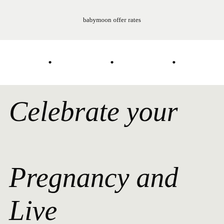babymoon offer rates
· · ·
Celebrate your Pregnancy and Live it Up Once More